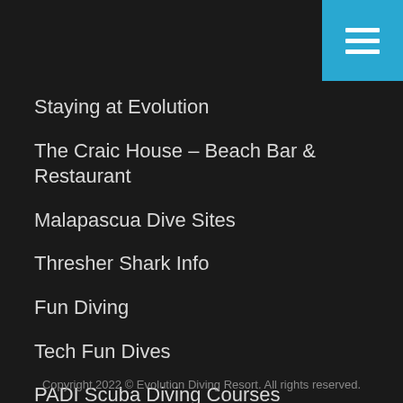[Figure (other): Blue hamburger menu button in top-right corner with three white horizontal bars]
Staying at Evolution
The Craic House – Beach Bar & Restaurant
Malapascua Dive Sites
Thresher Shark Info
Fun Diving
Tech Fun Dives
PADI Scuba Diving Courses
Tech Diving Courses
Wreck Diving
Payment & Cancellation
Copyright 2022 © Evolution Diving Resort. All rights reserved.